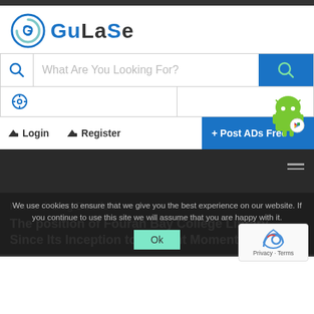[Figure (logo): GuLaSe logo with circular G icon and colored text]
[Figure (screenshot): Search bar with placeholder text 'What Are You Looking For?' and blue search button]
[Figure (screenshot): Location selector row with crosshair icon]
Login   Register   + Post ADs Free
[Figure (screenshot): Dark navigation header section with hamburger menu]
Home / Blog Details /
The position of Fourah Bay College Library Since Its Inception to Present Moment
We use cookies to ensure that we give you the best experience on our website. If you continue to use this site we will assume that you are happy with it.
Ok